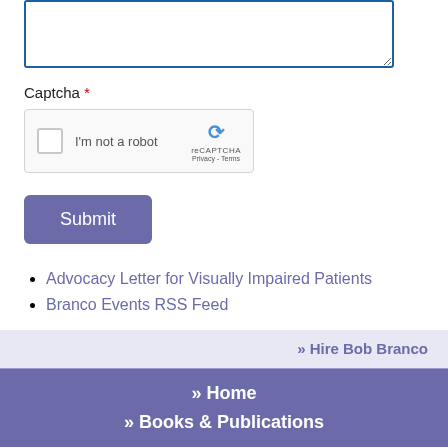[Figure (screenshot): Text area input box with blue border]
Captcha *
[Figure (other): reCAPTCHA widget with checkbox 'I'm not a robot' and reCAPTCHA logo with Privacy - Terms links]
[Figure (screenshot): Submit button in purple/slate color]
Advocacy Letter for Visually Impaired Patients
Branco Events RSS Feed
» Hire Bob Branco
» Home
» Books & Publications